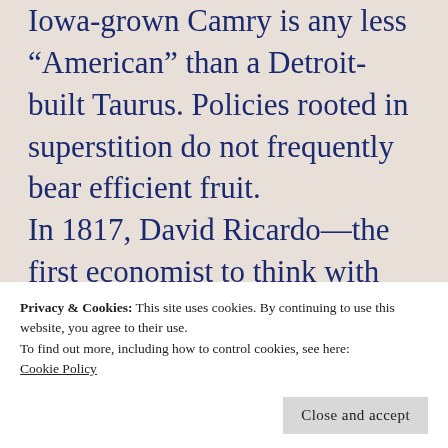Iowa-grown Camry is any less “American” than a Detroit-built Taurus. Policies rooted in superstition do not frequently bear efficient fruit. In 1817, David Ricardo—the first economist to think with the precision, though not the language, of a mathematician,
Privacy & Cookies: This site uses cookies. By continuing to use this website, you agree to their use.
To find out more, including how to control cookies, see here:
Cookie Policy
Close and accept
years his theory has been much